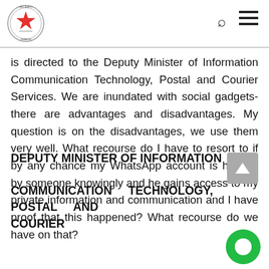Parliament of Zimbabwe — navigation header with logo, search and menu icons
is directed to the Deputy Minister of Information Communication Technology, Postal and Courier Services. We are inundated with social gadgets-there are advantages and disadvantages. My question is on the disadvantages, we use them very well. What recourse do I have to resort to if by any chance my WhatsApp account is hacked by someone knowingly and he gains access to my private information and communication and I have proof that this happened? What recourse do we have on that?
DEPUTY MINISTER OF INFORMATION COMMUNICATION TECHNOLOGY, POSTAL AND COURIER